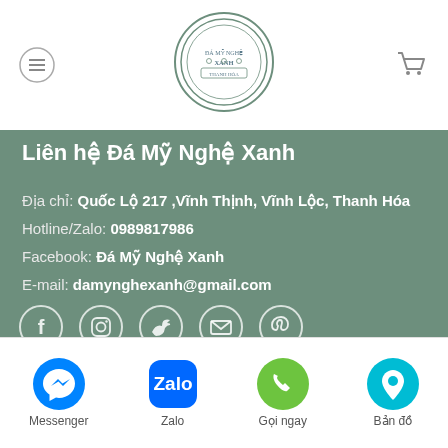[Figure (logo): Circular logo with ornate border for Đá Mỹ Nghệ Xanh]
Liên hệ Đá Mỹ Nghệ Xanh
Địa chỉ: Quốc Lộ 217 ,Vĩnh Thịnh, Vĩnh Lộc, Thanh Hóa
Hotline/Zalo: 0989817986
Facebook: Đá Mỹ Nghệ Xanh
E-mail: damynghexanh@gmail.com
[Figure (infographic): Social media icons: Facebook, Instagram, Twitter, Email, Pinterest]
TIN TỨC MỚI NHẤT
[Figure (infographic): Bottom navigation bar with Messenger, Zalo, Gọi ngay (Phone), Bản đồ (Map) icons]